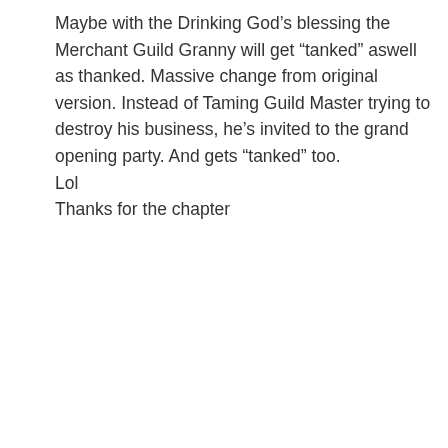Maybe with the Drinking God’s blessing the Merchant Guild Granny will get “tanked” aswell as thanked. Massive change from original version. Instead of Taming Guild Master trying to destroy his business, he’s invited to the grand opening party. And gets “tanked” too.
Lol
Thanks for the chapter
Loading...
Reply ↓
kariageweb
August 29, 2018 at 3:19 pm
Thanks for the chapter! 🙂